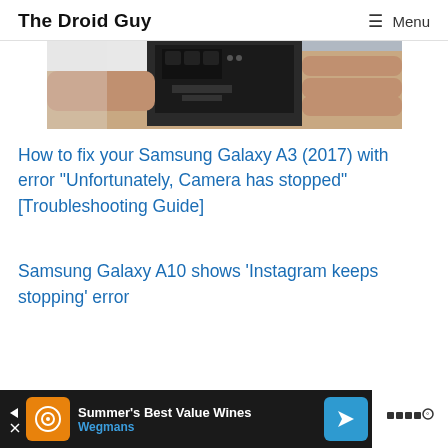The Droid Guy  ☰ Menu
[Figure (photo): A hand holding a Samsung Galaxy smartphone, showing the back of the device with camera visible, partial view cropped at top of page.]
How to fix your Samsung Galaxy A3 (2017) with error “Unfortunately, Camera has stopped” [Troubleshooting Guide]
Samsung Galaxy A10 shows ‘Instagram keeps stopping’ error
[Figure (infographic): Advertisement banner at bottom: Summer's Best Value Wines - Wegmans, with orange icon, blue navigation arrow icon, and white logo on right.]